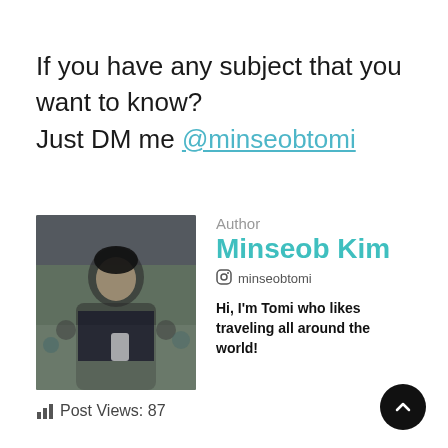If you have any subject that you want to know?
Just DM me @minseobtomi
[Figure (photo): Photo of Minseob Kim (Tomi) in an outdoor crowd setting, wearing a dark jacket and holding a phone]
Author
Minseob Kim
minseobtomi
Hi, I'm Tomi who likes traveling all around the world!
Post Views: 87